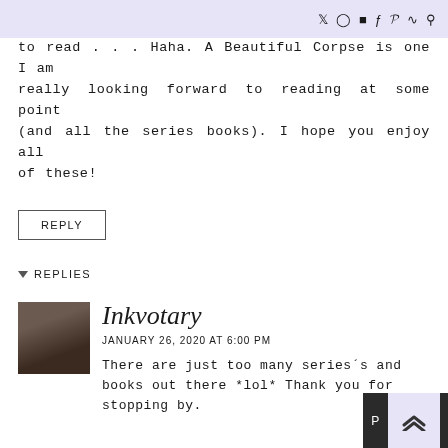Social media icons: Twitter, Instagram, Blog, Facebook, Pinterest, RSS, Search
to read . . . Haha. A Beautiful Corpse is one I am really looking forward to reading at some point (and all the series books). I hope you enjoy all of these!
REPLY
▼ REPLIES
[Figure (photo): Avatar photo of Inkvotary commenter, dark-haired person]
Inkvotary
JANUARY 26, 2020 AT 6:00 PM
There are just too many series´s and books out there *lol* Thank you for stopping by.